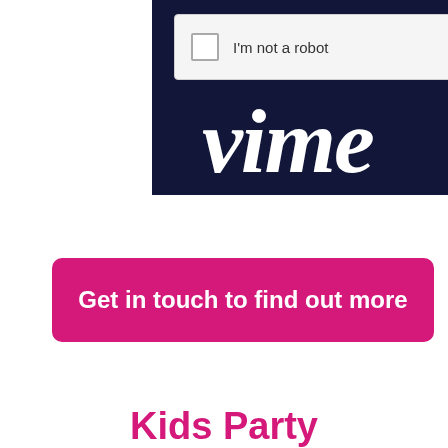[Figure (screenshot): Vimeo website screenshot showing a reCAPTCHA 'I'm not a robot' checkbox widget on a dark navy background with partial Vimeo logo text visible in white italic script]
Get in touch to find out more
Kids Party